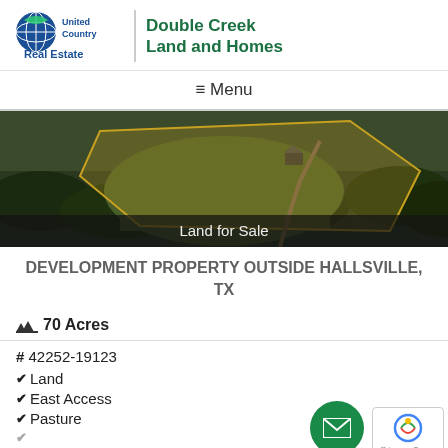[Figure (logo): United Country Real Estate / Double Creek Land and Homes logo]
≡ Menu
[Figure (photo): Aerial drone photo of land property showing green pasture and tree lines with orange highlighted boundary overlay]
Land for Sale
DEVELOPMENT PROPERTY OUTSIDE HALLSVILLE, TX
70 Acres
# 42252-19123
Land
East Access
Pasture